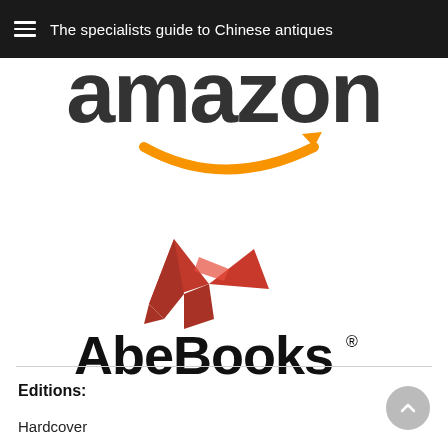The specialists guide to Chinese antiques
[Figure (logo): Amazon logo — partially cropped at top, showing the wordmark in dark grey and the orange arrow swoosh below]
[Figure (logo): AbeBooks logo — red origami bird/dove above bold black 'AbeBooks' wordmark with registered trademark symbol]
Editions:
Hardcover